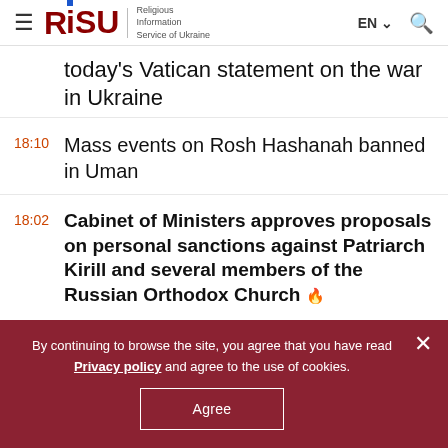RISU — Religious Information Service of Ukraine | EN | Search
today's Vatican statement on the war in Ukraine
18:10  Mass events on Rosh Hashanah banned in Uman
18:02  Cabinet of Ministers approves proposals on personal sanctions against Patriarch Kirill and several members of the Russian Orthodox Church
By continuing to browse the site, you agree that you have read Privacy policy and agree to the use of cookies. Agree